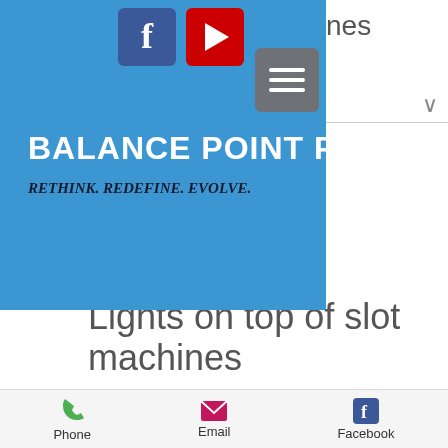[Figure (screenshot): Website header screenshot showing Balance Point PT with blue background panel, Facebook and YouTube social icons, hamburger menu button, brand title and tagline]
BALANCE POINT PT
RETHINK. REDEFINE. EVOLVE.
Lights on top of slot machines
Lights on top of slot machines
Phone | Email | Facebook